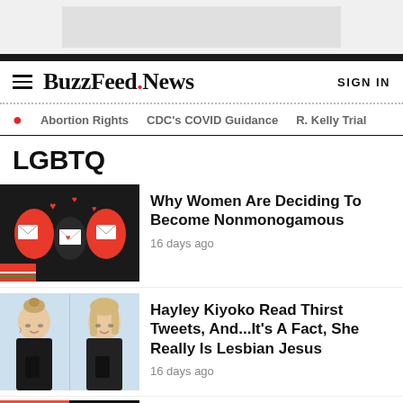[Figure (other): Gray advertisement banner placeholder at the top of the page]
BuzzFeed.News | SIGN IN
Abortion Rights  CDC's COVID Guidance  R. Kelly Trial
LGBTQ
[Figure (illustration): Colorful illustration of people exchanging love letters, red and black figures with hearts and envelopes]
Why Women Are Deciding To Become Nonmonogamous
16 days ago
[Figure (photo): Photo of Hayley Kiyoko, split image showing two poses of a blonde woman in black outfit]
Hayley Kiyoko Read Thirst Tweets, And...It's A Fact, She Really Is Lesbian Jesus
16 days ago
[Figure (photo): Partial photo at the bottom, partially cropped article thumbnail]